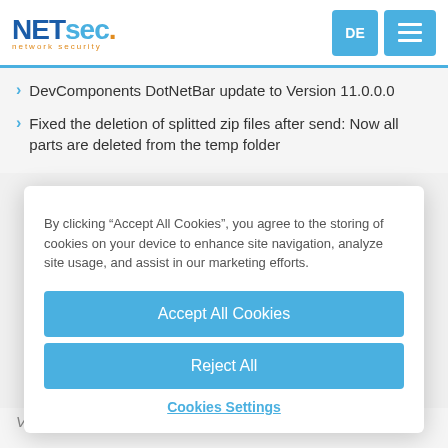NETsec. network security - DE / Menu
DevComponents DotNetBar update to Version 11.0.0.0
Fixed the deletion of splitted zip files after send: Now all parts are deleted from the temp folder
By clicking “Accept All Cookies”, you agree to the storing of cookies on your device to enhance site navigation, analyze site usage, and assist in our marketing efforts.
Accept All Cookies
Reject All
Cookies Settings